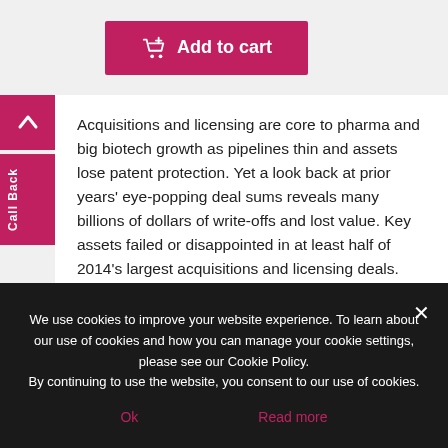[Figure (other): Pink 'Add to cart' button with shopping cart icon]
[Figure (other): Pink upward arrow button and vertical 'Call Back' tab on left sidebar]
Acquisitions and licensing are core to pharma and big biotech growth as pipelines thin and assets lose patent protection. Yet a look back at prior years' eye-popping deal sums reveals many billions of dollars of write-offs and lost value. Key assets failed or disappointed in at least half of 2014's largest acquisitions and licensing deals. Failure is part of the drug discovery landscape, but some lessons can be learned from dud deals.
July 12, 2019
We use cookies to improve your website experience. To learn about our use of cookies and how you can manage your cookie settings, please see our Cookie Policy.
By continuing to use the website, you consent to our use of cookies.

Ok    Read more